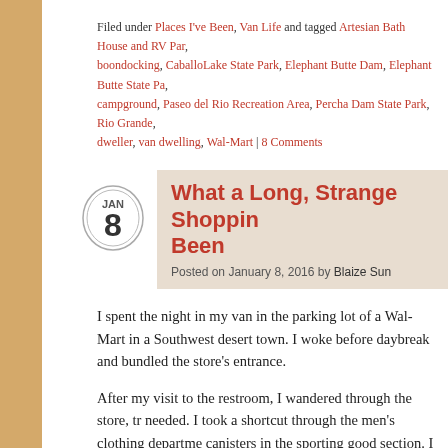Filed under Places I've Been, Van Life and tagged Artesian Bath House and RV Par, boondocking, CaballoLake State Park, Elephant Butte Dam, Elephant Butte State Pa, campground, Paseo del Rio Recreation Area, Percha Dam State Park, Rio Grande, dweller, van dwelling, Wal-Mart | 8 Comments
What a Long, Strange Shoppin Been
Posted on January 8, 2016 by Blaize Sun
I spent the night in my van in the parking lot of a Wal-Mart in a Southwest desert town. I woke before daybreak and bundled the store's entrance.
After my visit to the restroom, I wandered through the store, tr needed. I took a shortcut through the men's clothing departme canisters in the sporting good section. I ended up walking nex down to see what was on display.
WHAT!?!?